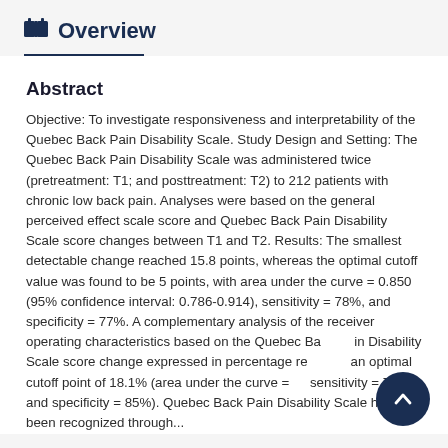Overview
Abstract
Objective: To investigate responsiveness and interpretability of the Quebec Back Pain Disability Scale. Study Design and Setting: The Quebec Back Pain Disability Scale was administered twice (pretreatment: T1; and posttreatment: T2) to 212 patients with chronic low back pain. Analyses were based on the general perceived effect scale score and Quebec Back Pain Disability Scale score changes between T1 and T2. Results: The smallest detectable change reached 15.8 points, whereas the optimal cutoff value was found to be 5 points, with area under the curve = 0.850 (95% confidence interval: 0.786-0.914), sensitivity = 78%, and specificity = 77%. A complementary analysis of the receiver operating characteristics based on the Quebec Back Pain Disability Scale score change expressed in percentage revealed an optimal cutoff point of 18.1% (area under the curve = …, sensitivity = 72%, and specificity = 85%). Quebec Back Pain Disability Scale has been recognized through...